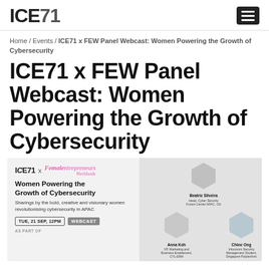ICE71
Home / Events / ICE71 x FEW Panel Webcast: Women Powering the Growth of Cybersecurity
ICE71 x FEW Panel Webcast: Women Powering the Growth of Cybersecurity
[Figure (infographic): Event promotional banner for ICE71 x Female Entrepreneurs Worldwide panel webcast titled 'Women Powering the Growth of Cybersecurity'. Shows logos, event description, date TUE 21 SEP 12PM WEBCAST, and hexagonal profile photos of speakers: Beatriz Silveira (Head, Cyber Security Fusion Center APAC, Citi), Anna Koh (VP Marketing and Business Enablement, CYL-EMA), Chloe Ong (Infocomm Security Management Student, Singapore Polytechnic), Pamela Lim, and a Moderator.]